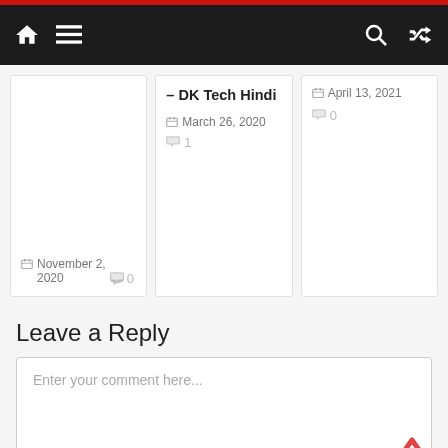Navigation bar with home, menu, search, and shuffle icons
– DK Tech Hindi
March 26, 2020  1 comment
November 2, 2020  0 comments
April 13, 2021  0 comments
Leave a Reply
Enter your comment here...